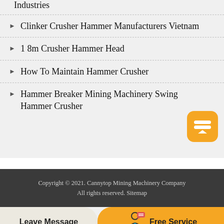Industries
Clinker Crusher Hammer Manufacturers Vietnam
1 8m Crusher Hammer Head
How To Maintain Hammer Crusher
Hammer Breaker Mining Machinery Swing Hammer Crusher
Copyright © 2021. Cannytop Mining Machinery Company All rights reserved. Sitemap
Leave Message
Free Service